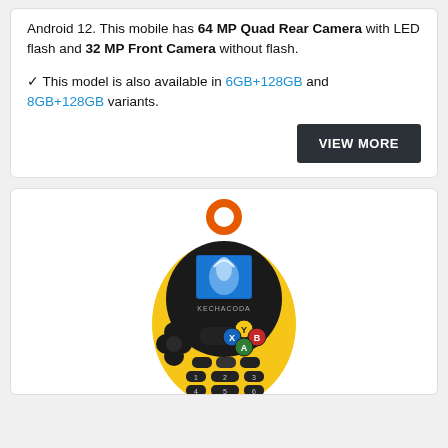Android 12. This mobile has 64 MP Quad Rear Camera with LED flash and 32 MP Front Camera without flash.
✓ This model is also available in 6GB+128GB and 8GB+128GB variants.
[Figure (photo): A yellow KECHACODA mini mobile phone with black circular body, orange loop at top, colored game-controller-style buttons (yellow, blue, red, green), a small screen showing a water splash image, and a numeric keypad.]